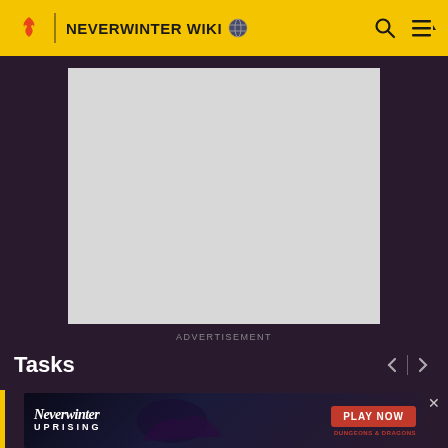NEVERWINTER WIKI
[Figure (other): Gray advertisement placeholder rectangle]
ADVERTISEMENT
Tasks
[Figure (other): Neverwinter Uprising game advertisement banner with PLAY NOW button and Dungeons & Dragons logo]